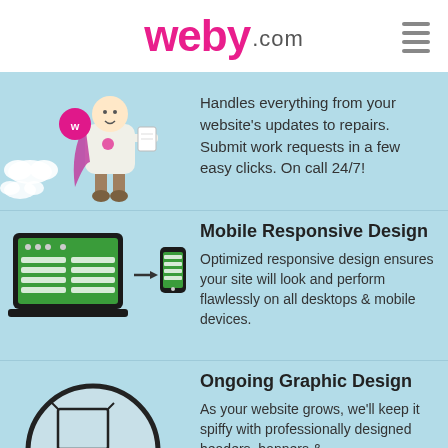weby.com
[Figure (illustration): Cartoon superhero character wearing a cape with Weby logo, holding papers, with clouds]
Handles everything from your website's updates to repairs. Submit work requests in a few easy clicks. On call 24/7!
[Figure (illustration): Laptop with green screen showing content layout, arrow pointing to mobile phone - representing responsive design]
Mobile Responsive Design
Optimized responsive design ensures your site will look and perform flawlessly on all desktops & mobile devices.
[Figure (illustration): Circle icon with paintbrush, palette, and design tools representing graphic design services]
Ongoing Graphic Design
As your website grows, we'll keep it spiffy with professionally designed headers, banners &